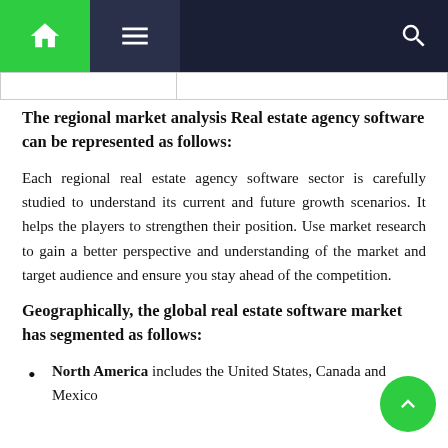Navigation bar with home, menu, and search icons
The regional market analysis Real estate agency software can be represented as follows:
Each regional real estate agency software sector is carefully studied to understand its current and future growth scenarios. It helps the players to strengthen their position. Use market research to gain a better perspective and understanding of the market and target audience and ensure you stay ahead of the competition.
Geographically, the global real estate software market has segmented as follows:
North America includes the United States, Canada and Mexico